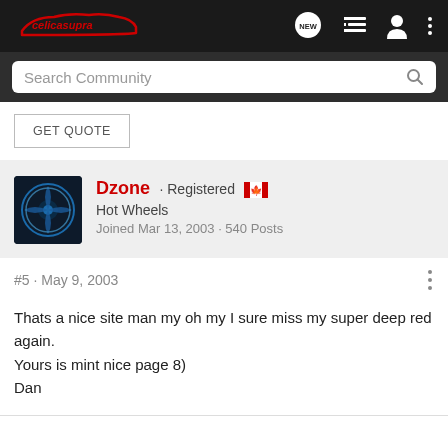celicasupra
Search Community
GET QUOTE
Dzone · Registered
Hot Wheels
Joined Mar 13, 2003 · 540 Posts
#5 · May 9, 2003
Thats a nice site man my oh my I sure miss my super deep red again.
Yours is mint nice page 8)
Dan